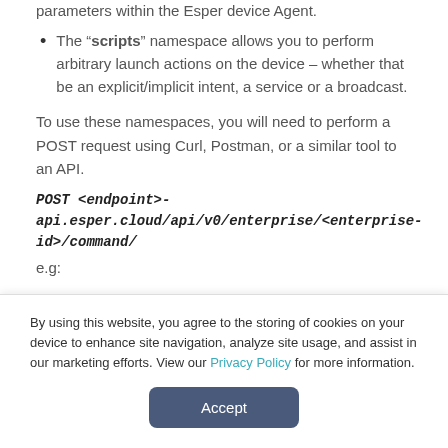parameters within the Esper device Agent.
The “scripts” namespace allows you to perform arbitrary launch actions on the device – whether that be an explicit/implicit intent, a service or a broadcast.
To use these namespaces, you will need to perform a POST request using Curl, Postman, or a similar tool to an API.
POST <endpoint>-api.esper.cloud/api/v0/enterprise/<enterprise-id>/command/
e.g:
By using this website, you agree to the storing of cookies on your device to enhance site navigation, analyze site usage, and assist in our marketing efforts. View our Privacy Policy for more information.